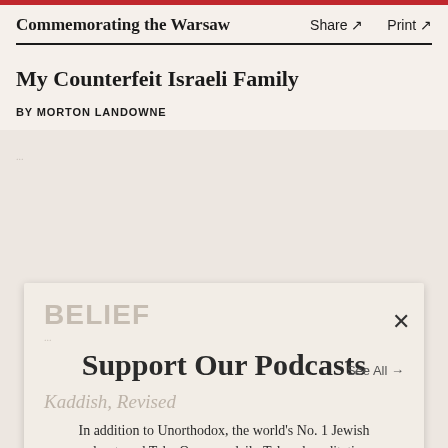Commemorating the Warsaw  Share ↗  Print ↗
My Counterfeit Israeli Family
BY MORTON LANDOWNE
[Figure (screenshot): Modal overlay popup on article page with 'BELIEF' section header, 'See All →' link, close button (×), title 'Support Our Podcasts', body text 'In addition to Unorthodox, the world's No. 1 Jewish podcast, and Take One, our daily Talmud meditation, we're hard at work on exciting new Jewish audio series.', 'Support Tablet' heading, and three red donation buttons showing $36, $50, $75. Background shows faded article text including 'Kaddish, Revised', 'Trapped in Translation', and 'BY SETH M. LIMMER'.]